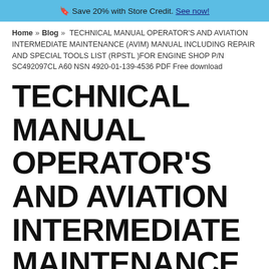🔖 Save 20% with Store Credit. See now!
Home » Blog » TECHNICAL MANUAL OPERATOR'S AND AVIATION INTERMEDIATE MAINTENANCE (AVIM) MANUAL INCLUDING REPAIR AND SPECIAL TOOLS LIST (RPSTL )FOR ENGINE SHOP P/N SC492097CL A60 NSN 4920-01-139-4536 PDF Free download
TECHNICAL MANUAL OPERATOR'S AND AVIATION INTERMEDIATE MAINTENANCE (AVIM) MANUAL INCLUDING REPAIR AND SPECIAL